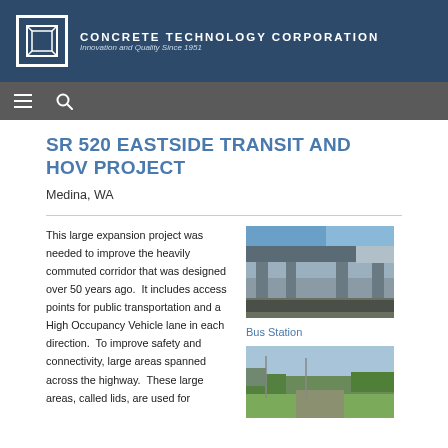CONCRETE TECHNOLOGY CORPORATION — Innovation and Quality Since 1951
SR 520 EASTSIDE TRANSIT AND HOV PROJECT
Medina, WA
This large expansion project was needed to improve the heavily commuted corridor that was designed over 50 years ago.  It includes access points for public transportation and a High Occupancy Vehicle lane in each direction.  To improve safety and connectivity, large areas spanned across the highway.  These large areas, called lids, are used for
[Figure (photo): Photo of a bus station with overhead bridge structure and modern transit architecture]
Bus Station
[Figure (photo): Photo of a highway or road area with green landscape and hills in background]